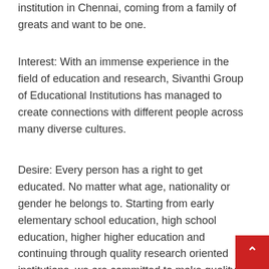institution in Chennai, coming from a family of greats and want to be one.
Interest: With an immense experience in the field of education and research, Sivanthi Group of Educational Institutions has managed to create connections with different people across many diverse cultures.
Desire: Every person has a right to get educated. No matter what age, nationality or gender he belongs to. Starting from early elementary school education, high school education, higher higher education and continuing through quality research oriented institutions, we are committed to make quality education accessible for all.